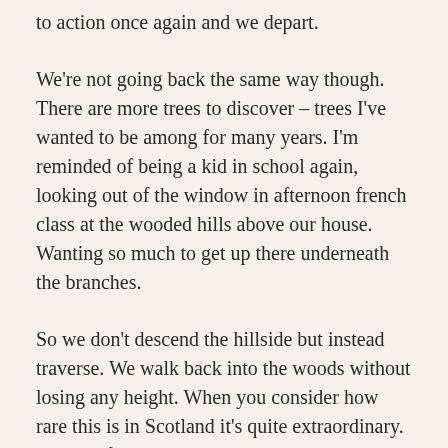to action once again and we depart.
We're not going back the same way though. There are more trees to discover – trees I've wanted to be among for many years. I'm reminded of being a kid in school again, looking out of the window in afternoon french class at the wooded hills above our house. Wanting so much to get up there underneath the branches.
So we don't descend the hillside but instead traverse. We walk back into the woods without losing any height. When you consider how rare this is in Scotland it's quite extraordinary. To walk from a mountain habitat into a dense, fully developed ancient wood at the same height makes you question why our hills are barren of trees. They don't need to